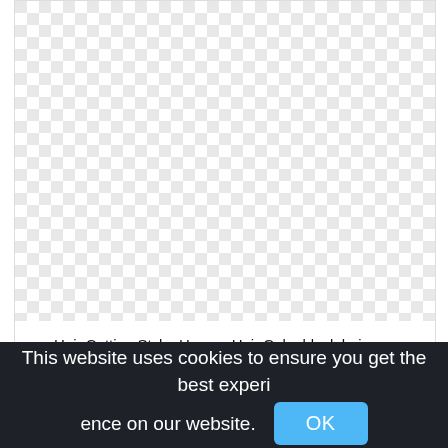[Figure (other): Transparent/checkerboard pattern area representing a PNG image placeholder for Hair Cutting Style, Human Hair Color, black hair png]
Hair Cutting Style, Human Hair Color,black hair png
This website uses cookies to ensure you get the best experience on our website.